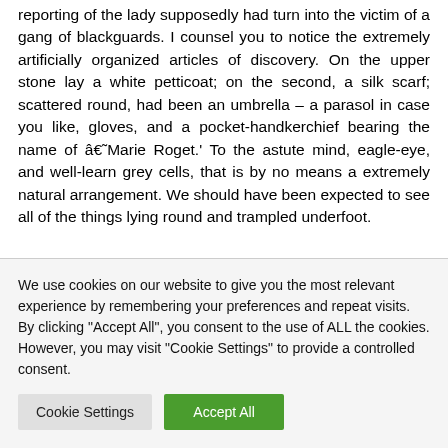reporting of the lady supposedly had turn into the victim of a gang of blackguards. I counsel you to notice the extremely artificially organized articles of discovery. On the upper stone lay a white petticoat; on the second, a silk scarf; scattered round, had been an umbrella – a parasol in case you like, gloves, and a pocket-handkerchief bearing the name of â€˜Marie Roget.' To the astute mind, eagle-eye, and well-learn grey cells, that is by no means a extremely natural arrangement. We should have been expected to see all of the things lying round and trampled underfoot.
We use cookies on our website to give you the most relevant experience by remembering your preferences and repeat visits. By clicking "Accept All", you consent to the use of ALL the cookies. However, you may visit "Cookie Settings" to provide a controlled consent.